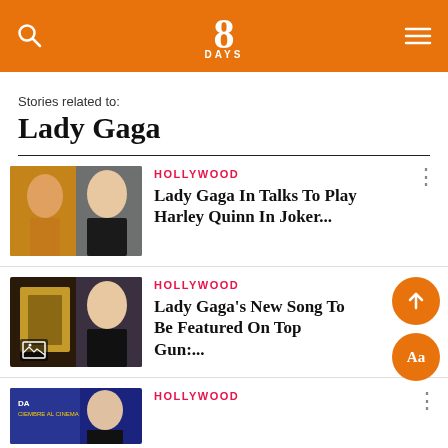8 DAYS — mobile app header with search and menu icons
Stories related to:
Lady Gaga
[Figure (screenshot): Article thumbnail showing Joker character and Lady Gaga side by side]
HOLLYWOOD
Lady Gaga In Talks To Play Harley Quinn In Joker...
[Figure (screenshot): Article thumbnail showing Lady Gaga with image gallery icon overlay]
HOLLYWOOD
Lady Gaga's New Song To Be Featured On Top Gun:...
[Figure (screenshot): Partial article thumbnail — blue cinema poster with Lady Gaga]
HOLLYWOOD